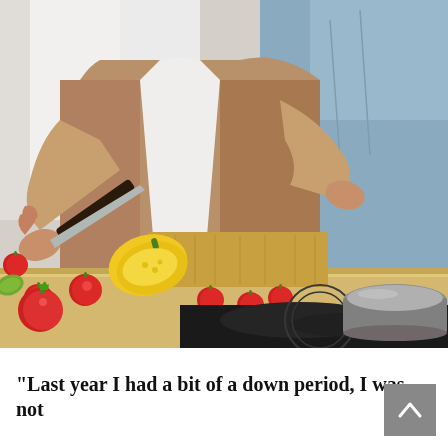[Figure (photo): Two people cooking together in a kitchen. One person is cutting a yellow bell pepper on a wooden cutting board, with cherry tomatoes and a large tomato on the counter. The other person stands behind with arms around. A dark induction stovetop and grey bowl are visible in the foreground.]
“Last year I had a bit of a down period, I was not